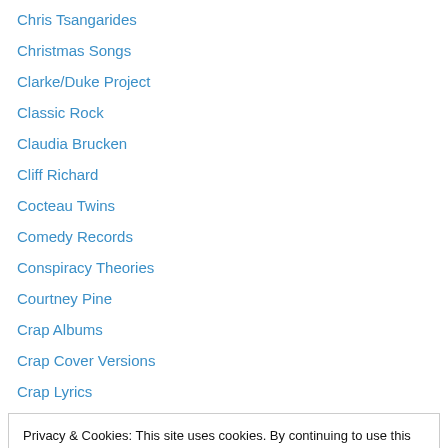Chris Tsangarides
Christmas Songs
Clarke/Duke Project
Classic Rock
Claudia Brucken
Cliff Richard
Cocteau Twins
Comedy Records
Conspiracy Theories
Courtney Pine
Crap Albums
Crap Cover Versions
Crap Lyrics
Privacy & Cookies: This site uses cookies. By continuing to use this website, you agree to their use.
To find out more, including how to control cookies, see here: Cookie Policy
Danny Wilson